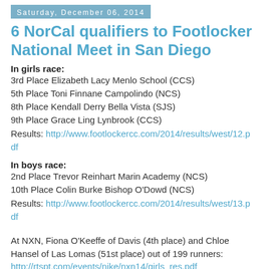Saturday, December 06, 2014
6 NorCal qualifiers to Footlocker National Meet in San Diego
In girls race:
3rd Place Elizabeth Lacy Menlo School (CCS)
5th Place Toni Finnane Campolindo (NCS)
8th Place Kendall Derry Bella Vista (SJS)
9th Place Grace Ling Lynbrook (CCS)
Results: http://www.footlockercc.com/2014/results/west/12.pdf
In boys race:
2nd Place Trevor Reinhart Marin Academy (NCS)
10th Place Colin Burke Bishop O'Dowd (NCS)
Results: http://www.footlockercc.com/2014/results/west/13.pdf
At NXN, Fiona O'Keeffe of Davis (4th place) and Chloe Hansel of Las Lomas (51st place) out of 199 runners: http://rtspt.com/events/nike/nxn14/girls_res.pdf